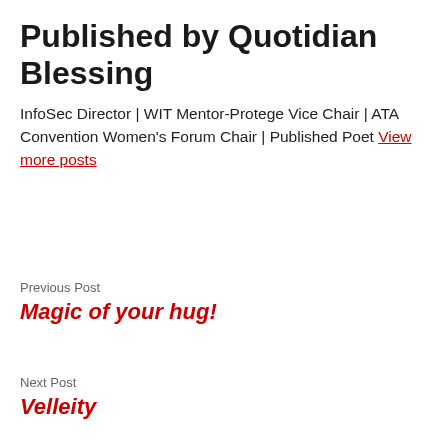Published by Quotidian Blessing
InfoSec Director | WIT Mentor-Protege Vice Chair | ATA Convention Women's Forum Chair | Published Poet View more posts
Previous Post
Magic of your hug!
Next Post
Velleity